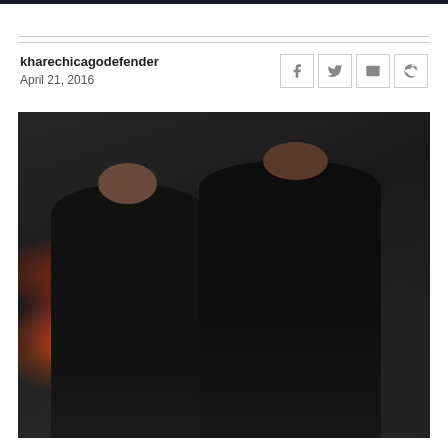kharechicagodefender
April 21, 2016
[Figure (photo): Two men in dark suits standing on a city street with bokeh lights in background, appearing to be in conversation]